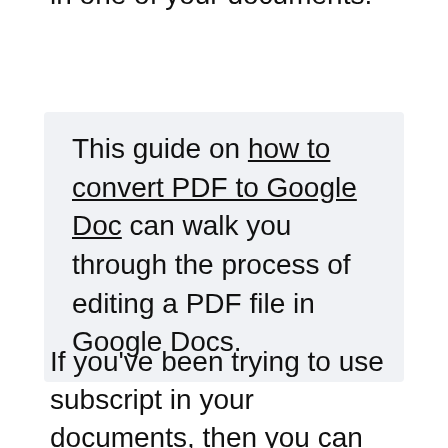address for any existing link in one of your documents.
This guide on how to convert PDF to Google Doc can walk you through the process of editing a PDF file in Google Docs.
If you’ve been trying to use subscript in your documents, then you can read more here to find out about that option in Google Docs.
Are you tired of Google Docs automatically creating a hyperlink when you type a Web address into a document? Find out how to turn off automatic hyperlinking in Google Docs to